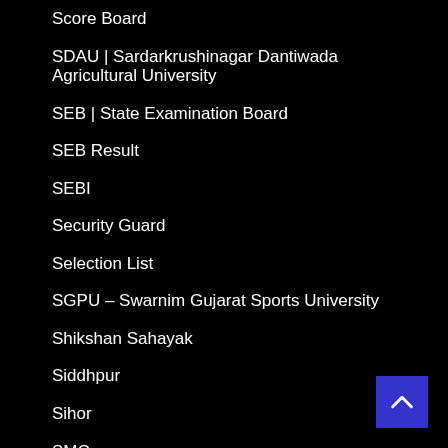Score Board
SDAU | Sardarkrushinagar Dantiwada Agricultural University
SEB | State Examination Board
SEB Result
SEBI
Security Guard
Selection List
SGPU – Swarnim Gujarat Sports University
Shikshan Sahayak
Siddhpur
Sihor
SMC
SMIMER
Social Science